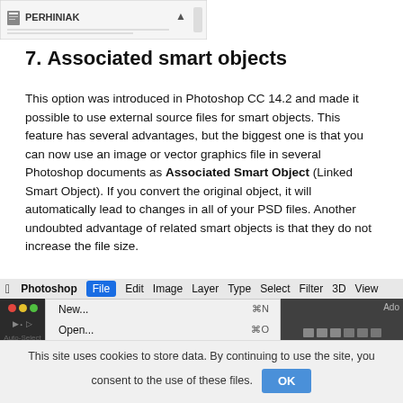[Figure (screenshot): Photoshop layer panel showing PERHINIAK entry with up arrow]
7. Associated smart objects
This option was introduced in Photoshop CC 14.2 and made it possible to use external source files for smart objects. This feature has several advantages, but the biggest one is that you can now use an image or vector graphics file in several Photoshop documents as Associated Smart Object (Linked Smart Object). If you convert the original object, it will automatically lead to changes in all of your PSD files. Another undoubted advantage of related smart objects is that they do not increase the file size.
[Figure (screenshot): Photoshop macOS menu bar showing File menu open with options: New..., Open..., Browse in Bridge..., Browse in Mini Bridge..., Open as Smart Object...]
This site uses cookies to store data. By continuing to use the site, you consent to the use of these files.